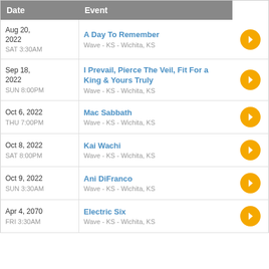| Date | Event |
| --- | --- |
| Aug 20, 2022
SAT 3:30AM | A Day To Remember
Wave - KS - Wichita, KS |
| Sep 18, 2022
SUN 8:00PM | I Prevail, Pierce The Veil, Fit For a King & Yours Truly
Wave - KS - Wichita, KS |
| Oct 6, 2022
THU 7:00PM | Mac Sabbath
Wave - KS - Wichita, KS |
| Oct 8, 2022
SAT 8:00PM | Kai Wachi
Wave - KS - Wichita, KS |
| Oct 9, 2022
SUN 3:30AM | Ani DiFranco
Wave - KS - Wichita, KS |
| Apr 4, 2070
FRI 3:30AM | Electric Six
Wave - KS - Wichita, KS |